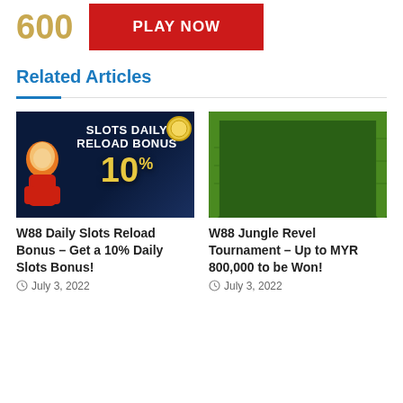100% Welcome Bonus Of 40 RM 600
[Figure (other): PLAY NOW button in red]
Related Articles
[Figure (illustration): W88 Slots Daily Reload Bonus banner showing 10%]
W88 Daily Slots Reload Bonus – Get a 10% Daily Slots Bonus!
July 3, 2022
[Figure (illustration): W88 Jungle Revel Tournament banner showing RM800,000]
W88 Jungle Revel Tournament – Up to MYR 800,000 to be Won!
July 3, 2022